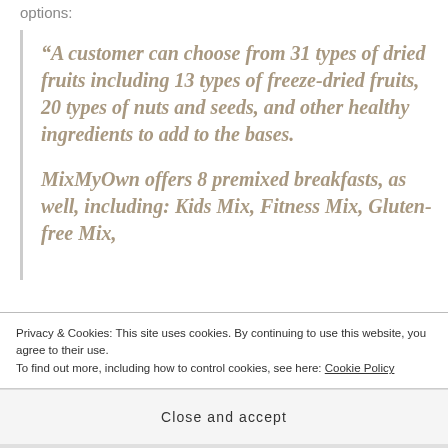options:
“A customer can choose from 31 types of dried fruits including 13 types of freeze-dried fruits, 20 types of nuts and seeds, and other healthy ingredients to add to the bases.

MixMyOwn offers 8 premixed breakfasts, as well, including: Kids Mix, Fitness Mix, Gluten-free Mix,
Privacy & Cookies: This site uses cookies. By continuing to use this website, you agree to their use.
To find out more, including how to control cookies, see here: Cookie Policy
Close and accept